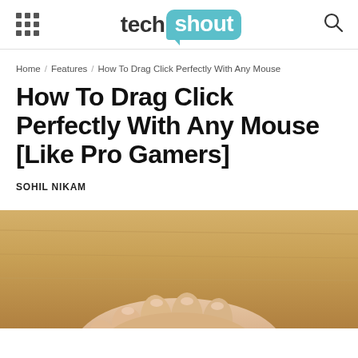tech shout
Home / Features / How To Drag Click Perfectly With Any Mouse
How To Drag Click Perfectly With Any Mouse [Like Pro Gamers]
SOHIL NIKAM
[Figure (photo): Close-up photo of a hand resting on a computer mouse on a wooden desk surface]